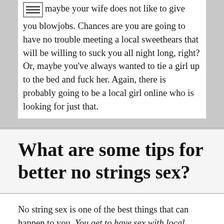maybe your wife does not like to give you blowjobs. Chances are you are going to have no trouble meeting a local sweethears that will be willing to suck you all night long, right? Or, maybe you've always wanted to tie a girl up to the bed and fuck her. Again, there is probably going to be a local girl online who is looking for just that.
What are some tips for better no strings sex?
No string sex is one of the best things that can happen to you. You get to have sex with local women without all of the burdens of a real relationship, like remembering birthdays or anniversaries. All you have to do is remember where to meet and fuck. Here are some tips on making no string sex even more fun: